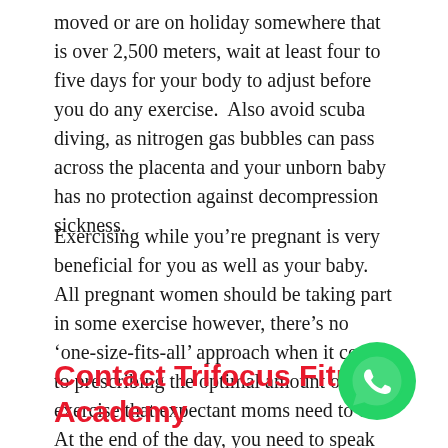moved or are on holiday somewhere that is over 2,500 meters, wait at least four to five days for your body to adjust before you do any exercise.  Also avoid scuba diving, as nitrogen gas bubbles can pass across the placenta and your unborn baby has no protection against decompression sickness.
Exercising while you’re pregnant is very beneficial for you as well as your baby. All pregnant women should be taking part in some exercise however, there’s no ‘one-size-fits-all’ approach when it comes to prescribing the optimal amount of exercise that expectant moms need to do. At the end of the day, you need to speak to your doctor who will advise you about how much you can be exercising.
Contact Trifocus Fitness Academy
[Figure (logo): WhatsApp green circle button icon with speech bubble and phone handset symbol]